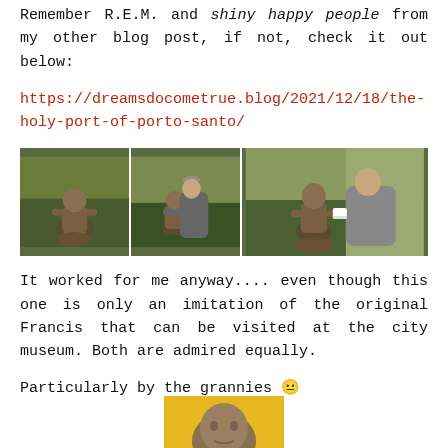Remember R.E.M. and shiny happy people from my other blog post, if not, check it out below:
https://dreamsdocometrue.blog/2021/12/18/the-holy-port-of-porto-santo/
[Figure (photo): Three photos side by side of a bronze child statue sitting on a ball in an autumn park setting. In the middle and right photos, a woman in a grey coat poses next to the statue.]
It worked for me anyway.... even though this one is only an imitation of the original Francis that can be visited at the city museum. Both are admired equally.
Particularly by the grannies 😐
[Figure (photo): Partial view of a bronze statue head/bust with a yellow background, cropped at the bottom of the page.]